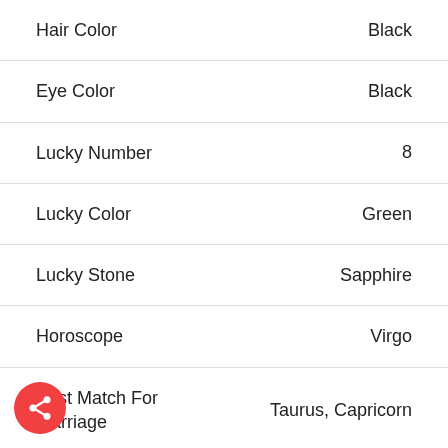| Attribute | Value |
| --- | --- |
| Hair Color | Black |
| Eye Color | Black |
| Lucky Number | 8 |
| Lucky Color | Green |
| Lucky Stone | Sapphire |
| Horoscope | Virgo |
| Best Match For Marriage | Taurus, Capricorn |
| Twitter Profile | twitter |